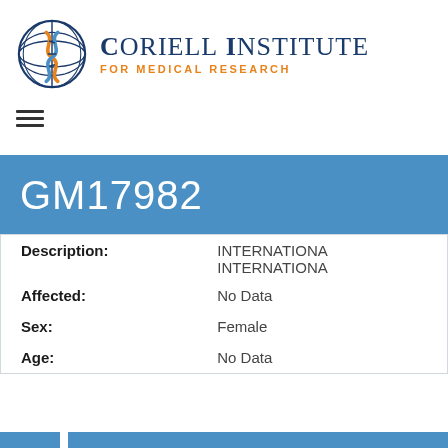[Figure (logo): Coriell Institute for Medical Research logo: globe with DNA double helix]
Coriell Institute FOR MEDICAL RESEARCH
GM17982
| Description: | INTERNATIONAL INTERNATIONAL |
| Affected: | No Data |
| Sex: | Female |
| Age: | No Data |